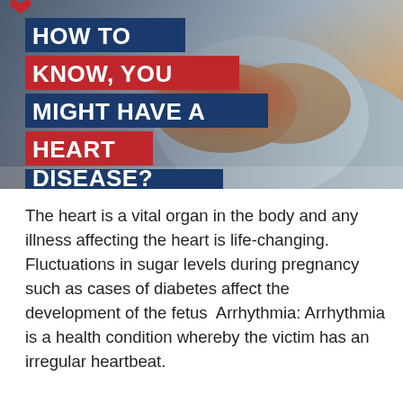[Figure (photo): Infographic image showing a person clutching their chest with a red glow indicating heart pain. Overlaid text reads 'HOW TO KNOW, YOU MIGHT HAVE A HEART DISEASE?' in bold white text on blue and red background banners.]
The heart is a vital organ in the body and any illness affecting the heart is life-changing. Fluctuations in sugar levels during pregnancy such as cases of diabetes affect the development of the fetus  Arrhythmia: Arrhythmia is a health condition whereby the victim has an irregular heartbeat.